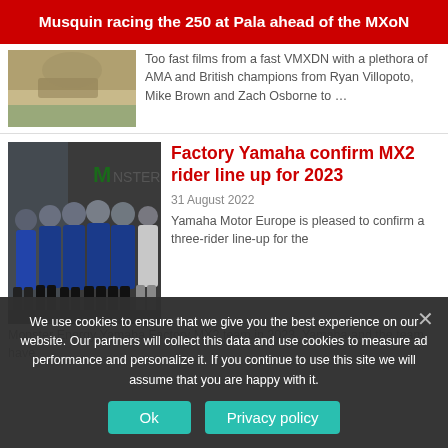Musquin racing the 250 at Pala ahead of the MXoN
[Figure (photo): Partial thumbnail image of motocross action at the top left]
Too fast films from a fast VMXDN with a plethora of AMA and British champions from Ryan Villopoto, Mike Brown and Zach Osborne to …
[Figure (photo): Group photo of Monster Energy Yamaha Factory MX2 team members standing together in front of a Monster Energy backdrop]
Factory Yamaha confirm MX2 rider line up for 2023
31 August 2022
Yamaha Motor Europe is pleased to confirm a three-rider line-up for the Monster Energy Yamaha Factory MX2 team in 2023. Yamaha and the team have
We use cookies to ensure that we give you the best experience on our website. Our partners will collect this data and use cookies to measure ad performance and personalize it. If you continue to use this site we will assume that you are happy with it.